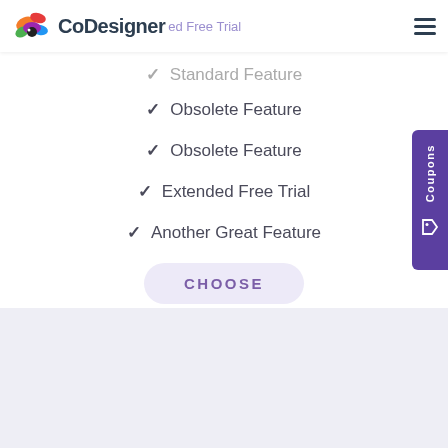CoDesigner | Extended Free Trial
✓ Obsolete Feature
✓ Obsolete Feature
✓ Extended Free Trial
✓ Another Great Feature
CHOOSE
[Figure (other): Coupons sidebar tab with tag icon on right edge]